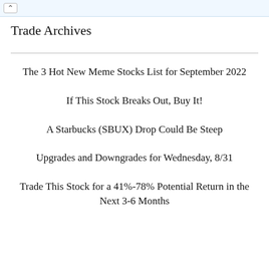Trade Archives
Trade Archives
The 3 Hot New Meme Stocks List for September 2022
If This Stock Breaks Out, Buy It!
A Starbucks (SBUX) Drop Could Be Steep
Upgrades and Downgrades for Wednesday, 8/31
Trade This Stock for a 41%-78% Potential Return in the Next 3-6 Months